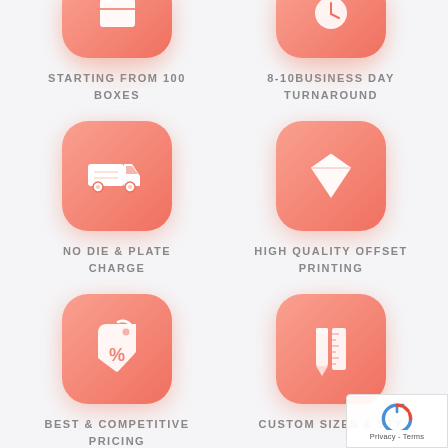[Figure (infographic): Coral/salmon gradient rounded square icon with a white box/package icon at top, partially cropped]
STARTING FROM 100 BOXES
[Figure (infographic): Coral/salmon gradient rounded square icon with a white clock/calendar icon at top, partially cropped]
8-10 BUSINESS DAY TURNAROUND
[Figure (infographic): Coral/salmon gradient rounded square icon with a white delivery truck icon]
NO DIE & PLATE CHARGE
[Figure (infographic): Coral/salmon gradient rounded square icon with a white diamond/gem icon]
HIGH QUALITY OFFSET PRINTING
[Figure (infographic): Coral/salmon gradient rounded square icon with a white price tag with percent sign icon]
BEST & COMPETITIVE PRICING
[Figure (infographic): Coral/salmon gradient rounded square icon with a white pencil and ruler icon]
CUSTOM SIZES & STYLES